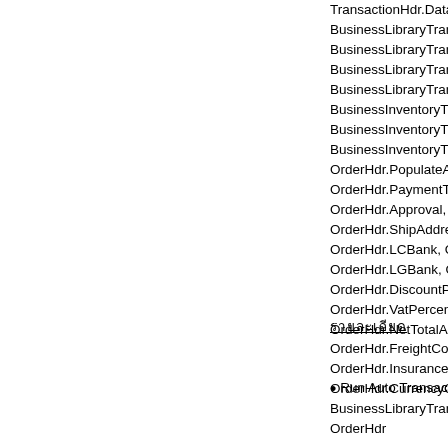TransactionHdr.DataK...
BusinessLibraryTrans...
BusinessLibraryTrans...
BusinessLibraryTrans...
BusinessLibraryTrans...
BusinessInventoryTra...
BusinessInventoryTra...
BusinessInventoryTra...
OrderHdr.PopulateAd...
OrderHdr.PaymentTer...
OrderHdr.Approval, C...
OrderHdr.ShipAddress...
OrderHdr.LCBank, Or...
OrderHdr.LGBank, Or...
OrderHdr.DiscountPer...
OrderHdr.VatPercent,
OrderHdr.NetTotalAm...
OrderHdr.FreightCorp...
OrderHdr.InsuranceCo...
OrderHdr.CurrencyCo...
BusinessLibraryTrans...
OrderHdr
รายละเอียด
Run Auto Transaction...